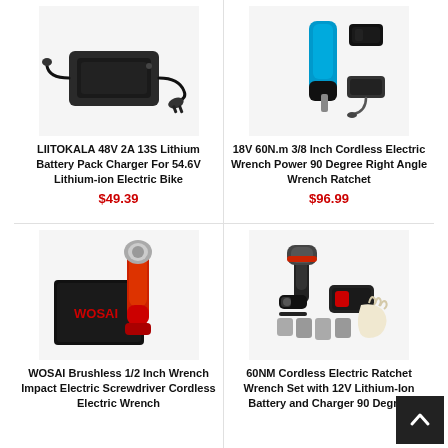[Figure (photo): Black lithium battery pack charger with power cord]
LIITOKALA 48V 2A 13S Lithium Battery Pack Charger For 54.6V Lithium-ion Electric Bike
$49.39
[Figure (photo): Blue and black 18V cordless electric wrench ratchet with battery and charger]
18V 60N.m 3/8 Inch Cordless Electric Wrench Power 90 Degree Right Angle Wrench Ratchet
$96.99
[Figure (photo): WOSAI red and black brushless 1/2 inch wrench impact electric screwdriver in box]
WOSAI Brushless 1/2 Inch Wrench Impact Electric Screwdriver Cordless Electric Wrench
[Figure (photo): 60NM cordless electric ratchet wrench set with 12V lithium-ion battery, charger, sockets, and glove]
60NM Cordless Electric Ratchet Wrench Set with 12V Lithium-Ion Battery and Charger 90 Degree